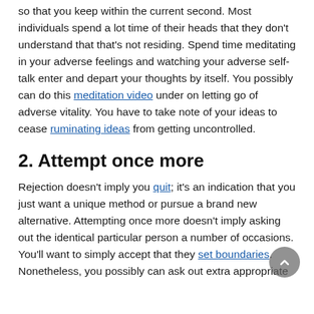so that you keep within the current second. Most individuals spend a lot time of their heads that they don't understand that that's not residing. Spend time meditating in your adverse feelings and watching your adverse self-talk enter and depart your thoughts by itself. You possibly can do this meditation video under on letting go of adverse vitality. You have to take note of your ideas to cease ruminating ideas from getting uncontrolled.
2. Attempt once more
Rejection doesn't imply you quit; it's an indication that you just want a unique method or pursue a brand new alternative. Attempting once more doesn't imply asking out the identical particular person a number of occasions. You'll want to simply accept that they set boundaries. Nonetheless, you possibly can ask out extra appropriate